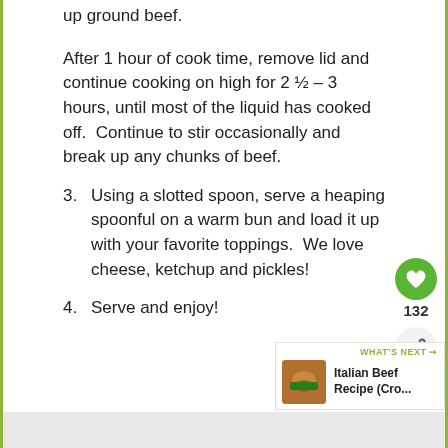up ground beef.
After 1 hour of cook time, remove lid and continue cooking on high for 2 ½ – 3 hours, until most of the liquid has cooked off.  Continue to stir occasionally and break up any chunks of beef.
3. Using a slotted spoon, serve a heaping spoonful on a warm bun and load it up with your favorite toppings.  We love cheese, ketchup and pickles!
4. Serve and enjoy!